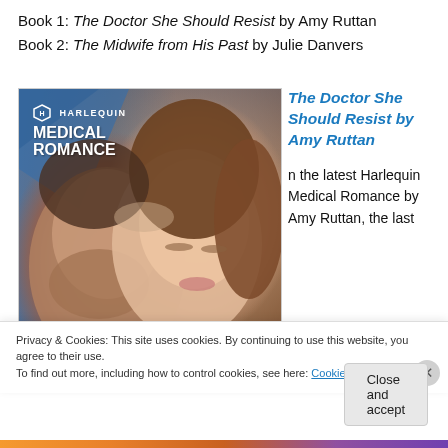Book 1: The Doctor She Should Resist by Amy Ruttan
Book 2: The Midwife from His Past by Julie Danvers
[Figure (photo): Harlequin Medical Romance book cover showing a couple (man and woman) in an intimate close-up pose, with the Harlequin Medical Romance logo in the upper left]
The Doctor She Should Resist by Amy Ruttan
n the latest Harlequin Medical Romance by Amy Ruttan, the last
Privacy & Cookies: This site uses cookies. By continuing to use this website, you agree to their use.
To find out more, including how to control cookies, see here: Cookie Policy
Close and accept